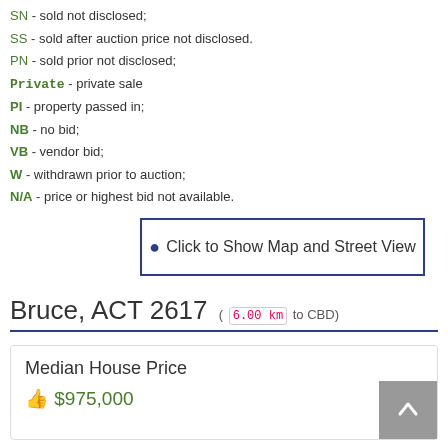SN - sold not disclosed;
SS - sold after auction price not disclosed.
PN - sold prior not disclosed;
Private - private sale
PI - property passed in;
NB - no bid;
VB - vendor bid;
W - withdrawn prior to auction;
N/A - price or highest bid not available.
[Figure (other): Button: Click to Show Map and Street View]
Bruce, ACT 2617 ( 6.00 km to CBD)
Median House Price
$975,000